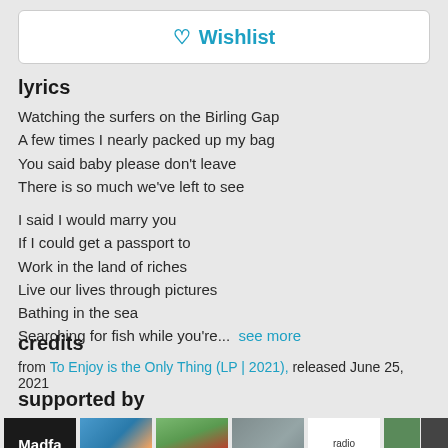Wishlist (button)
lyrics
Watching the surfers on the Birling Gap
A few times I nearly packed up my bag
You said baby please don't leave
There is so much we've left to see

I said I would marry you
If I could get a passport to
Work in the land of riches
Live our lives through pictures
Bathing in the sea
Searching for fish while you're...  see more
credits
from To Enjoy is the Only Thing (LP | 2021), released June 25, 2021
supported by
[Figure (photo): Madfa Music logo - black background with white text]
[Figure (photo): Underwater photo with colorful fish]
[Figure (photo): Person lying on grass]
[Figure (photo): Two people sitting together]
[Figure (logo): Radio 107 logo]
[Figure (photo): Multi-image collage]